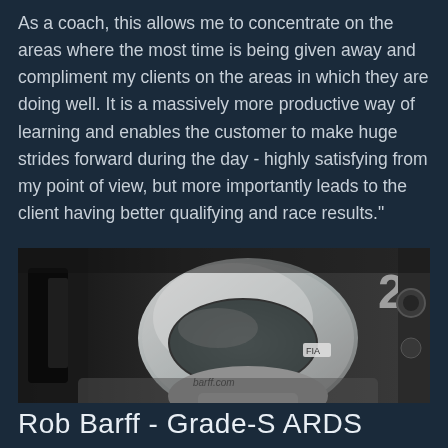As a coach, this allows me to concentrate on the areas where the most time is being given away and compliment my clients on the areas in which they are doing well. It is a massively more productive way of learning and enables the customer to make huge strides forward during the day - highly satisfying from my point of view, but more importantly leads to the client having better qualifying and race results."
[Figure (photo): Black and white close-up photograph of a racing driver wearing a white helmet with 'barff.com' written on it, seated in a racing car cockpit with FIA sticker visible and number 2 in the background]
Rob Barff - Grade-S ARDS